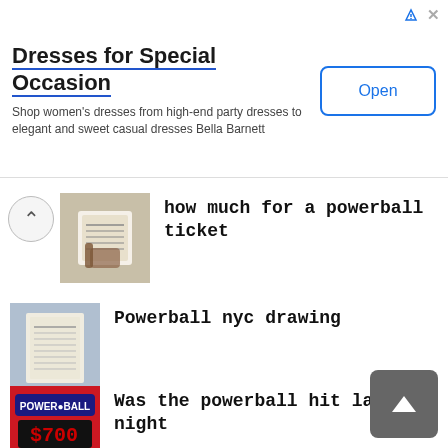[Figure (screenshot): Advertisement banner for Dresses for Special Occasion - Bella Barnett with Open button]
Dresses for Special Occasion
Shop women's dresses from high-end party dresses to elegant and sweet casual dresses Bella Barnett
[Figure (photo): Photo of a hand holding a Powerball lottery ticket]
how much for a powerball ticket
[Figure (photo): Photo of Powerball lottery tickets at a store]
Powerball nyc drawing
[Figure (photo): Photo of Powerball $700 million sign]
Was the powerball hit last night